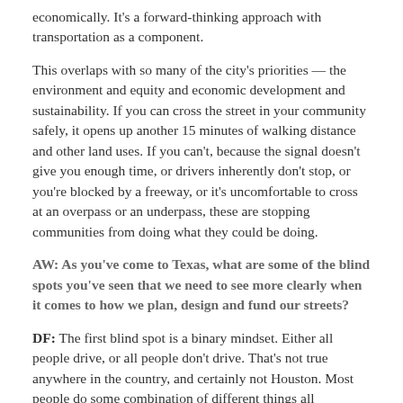economically. It's a forward-thinking approach with transportation as a component.
This overlaps with so many of the city's priorities — the environment and equity and economic development and sustainability. If you can cross the street in your community safely, it opens up another 15 minutes of walking distance and other land uses. If you can't, because the signal doesn't give you enough time, or drivers inherently don't stop, or you're blocked by a freeway, or it's uncomfortable to cross at an overpass or an underpass, these are stopping communities from doing what they could be doing.
AW: As you've come to Texas, what are some of the blind spots you've seen that we need to see more clearly when it comes to how we plan, design and fund our streets?
DF: The first blind spot is a binary mindset. Either all people drive, or all people don't drive. That's not true anywhere in the country, and certainly not Houston. Most people do some combination of different things all throughout the day, all throughout the week. While they may drive for a commute, they